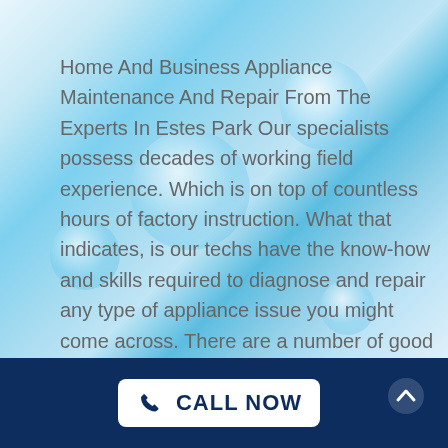[Figure (photo): Blue water splash background with bubbles and light reflections]
Home And Business Appliance Maintenance And Repair From The Experts In Estes Park Our specialists possess decades of working field experience. Which is on top of countless hours of factory instruction. What that indicates, is our techs have the know-how and skills required to diagnose and repair any type of appliance issue you might come across. There are a number of good reasons to work with SRB Appliance Repair as your provider for all of your home appliance repair requirements. SRB Appliance Repair is a trusted name in the business of appliance repair. No matter if it's installation
[Figure (infographic): Dark navy blue footer bar with a white rounded button containing a phone icon and CALL NOW text, and a white chevron-up arrow on the right]